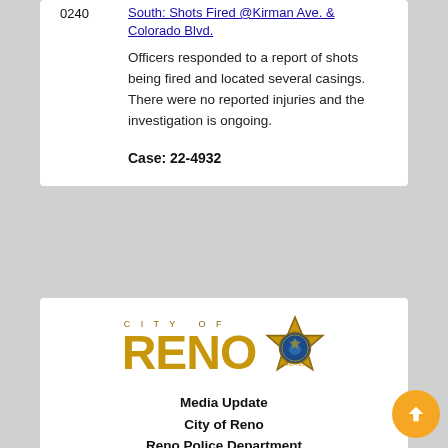0240
South: Shots Fired @Kirman Ave. & Colorado Blvd.
Officers responded to a report of shots being fired and located several casings. There were no reported injuries and the investigation is ongoing.
Case: 22-4932
[Figure (logo): City of Reno logo with golden RENO wordmark and police badge star emblem]
Media Update
City of Reno
Reno Police Department
(775) 334-3850